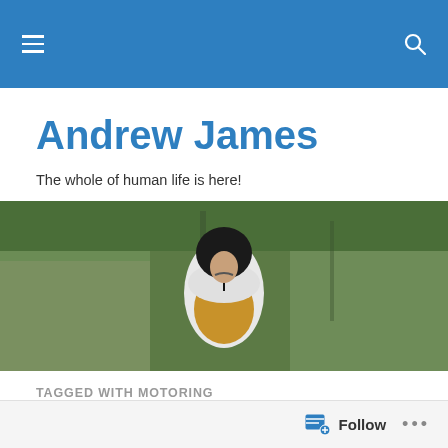Andrew James — site header navigation bar
Andrew James
The whole of human life is here!
[Figure (photo): Person wearing a black helmet and white/yellow cape or costume, standing in front of a rocky green cliff face. Hero/banner image.]
TAGGED WITH MOTORING
[Figure (photo): Thumbnail card showing a black-and-white vintage photograph of people at what appears to be Alexandra Palace, April 1967. Young people shown. Pink tag in corner.]
Follow • • •